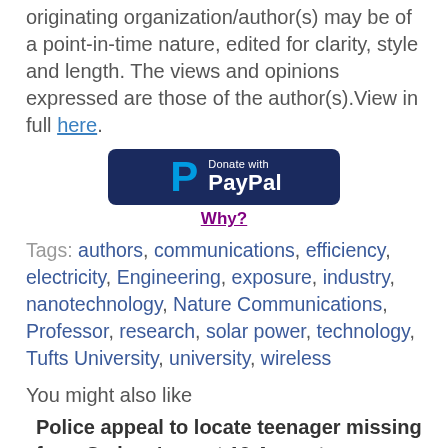originating organization/author(s) may be of a point-in-time nature, edited for clarity, style and length. The views and opinions expressed are those of the author(s).View in full here.
[Figure (other): PayPal donate button with dark navy background, blue P logo, white 'Donate with PayPal' text, followed by a 'Why?' link in purple underlined text]
Tags: authors, communications, efficiency, electricity, Engineering, exposure, industry, nanotechnology, Nature Communications, Professor, research, solar power, technology, Tufts University, university, wireless
You might also like
Police appeal to locate teenager missing from Sydney's west 19 August